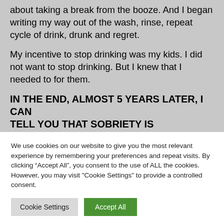about taking a break from the booze. And I began writing my way out of the wash, rinse, repeat cycle of drink, drunk and regret.
My incentive to stop drinking was my kids. I did not want to stop drinking. But I knew that I needed to for them.
IN THE END, ALMOST 5 YEARS LATER, I CAN TELL YOU THAT SOBRIETY IS ABSOLUTELY
We use cookies on our website to give you the most relevant experience by remembering your preferences and repeat visits. By clicking “Accept All”, you consent to the use of ALL the cookies. However, you may visit "Cookie Settings" to provide a controlled consent.